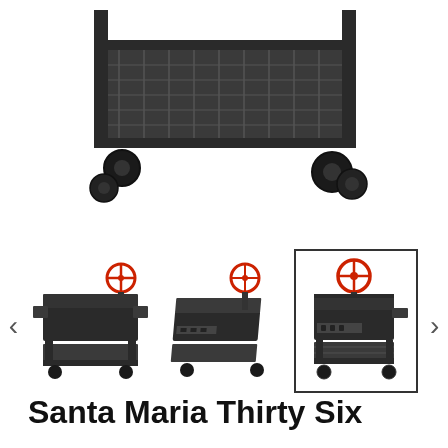[Figure (photo): Main product image showing bottom portion of a Santa Maria charcoal grill with mesh lower shelf and caster wheels, dark/black finish, white background]
[Figure (photo): Three product thumbnail images of the Santa Maria Thirty Six grill from different angles. First shows front view with side shelves and red hand wheel. Second shows angled top-down view. Third (selected, highlighted with border) shows side view. Navigation arrows on left and right.]
Santa Maria Thirty Six